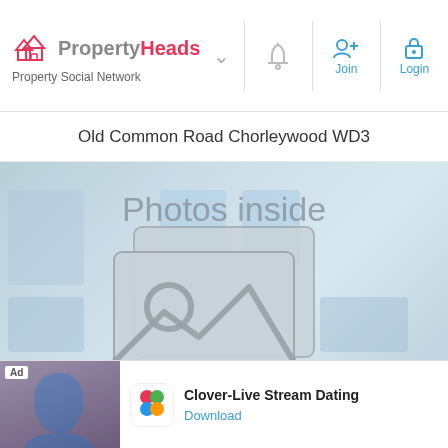PropertyHeads - Property Social Network
Old Common Road Chorleywood WD3
[Figure (photo): Property listing placeholder image showing 'Photos inside' text with a photo stack icon, price overlay of £265,000, and a chat icon in the bottom right]
£265,000
Floor Area Help
Price history
Address
Contact Agent
[Figure (screenshot): Advertisement banner for Clover-Live Stream Dating app with Ad label, app icon, and Download button]